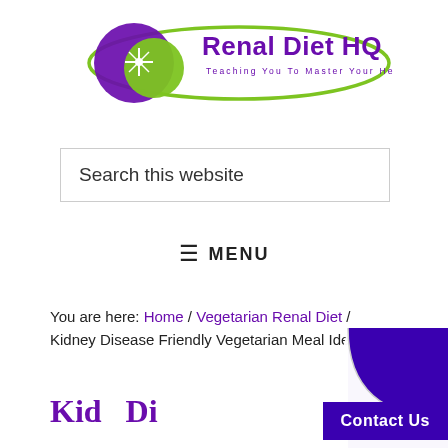[Figure (logo): Renal Diet HQ logo — purple kidney shape with green oval swirl and text 'Renal Diet HQ — Teaching You To Master Your Health']
Search this website
≡ MENU
You are here: Home / Vegetarian Renal Diet / Kidney Disease Friendly Vegetarian Meal Ideas
Kid Di…